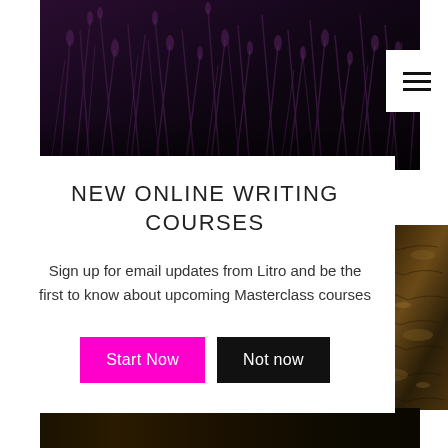[Figure (photo): Dark moody photograph of tall grass/reeds against a dark purple-black background, hero image at top of page]
[Figure (illustration): Hamburger menu icon (three horizontal lines) in white box at top right]
NEW ONLINE WRITING COURSES
Sign up for email updates from Litro and be the first to know about upcoming Masterclass courses
[Figure (illustration): Two buttons: 'Start Now' in magenta/pink and 'Not now' in black]
[Figure (photo): Close-up photo of stone/rock texture in olive-brown tones on the right side]
[Figure (photo): Dark landscape photo strip at the bottom of the page]